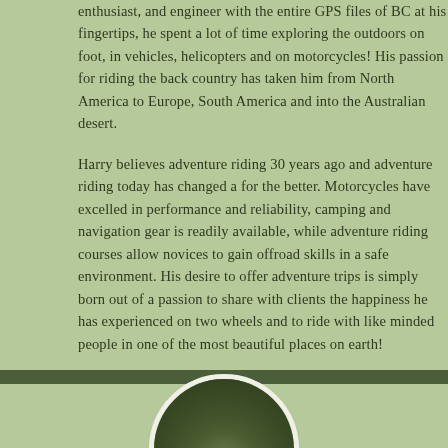enthusiast, and engineer with the entire GPS files of BC at his fingertips, he spent a lot of time exploring the outdoors on foot, in vehicles, helicopters and on motorcycles! His passion for riding the back country has taken him from North America to Europe, South America and into the Australian desert.
Harry believes adventure riding 30 years ago and adventure riding today has changed a for the better. Motorcycles have excelled in performance and reliability, camping and navigation gear is readily available, while adventure riding courses allow novices to gain offroad skills in a safe environment. His desire to offer adventure trips is simply born out of a passion to share with clients the happiness he has experienced on two wheels and to ride with like minded people in one of the most beautiful places on earth!
[Figure (photo): Circular portrait photo of a person, partially visible at bottom of page]